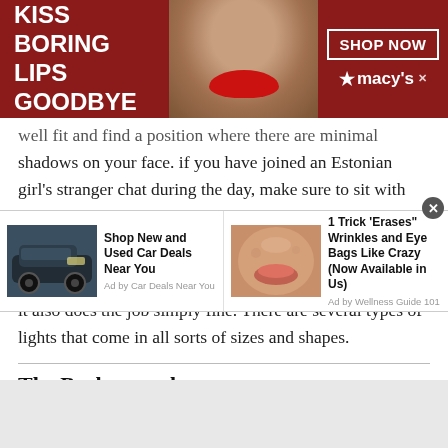[Figure (photo): Top banner advertisement for Macy's lipstick: dark red background, woman's face with red lips in center, 'KISS BORING LIPS GOODBYE' text on left in white, 'SHOP NOW' button and macy's star logo on right]
well fit and find a position where there are minimal shadows on your face. if you have joined an Estonian girl's stranger chat during the day, make sure to sit with maximum natural lighting, i.e. near a window.
On the other hand, for those chatting at night, you can purchase a simple LED light which is not only cheap, but it also does the job simply fine. There are several types of lights that come in all sorts of sizes and shapes.
The Background
[Figure (photo): Bottom ad bar with two ad units: (1) dark SUV car photo with text 'Shop New and Used Car Deals Near You' Ad by Car Deals Near You; (2) close-up skin/lips photo with text '1 Trick "Erases" Wrinkles and Eye Bags Like Crazy (Now Available in Us)' Ad by Wellness Guide 101. Close button (x) top right.]